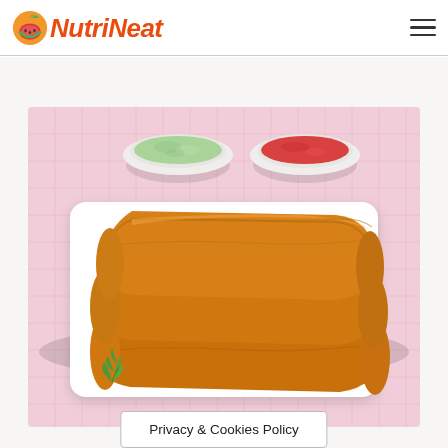NutriNeat
[Figure (photo): Plate of golden fried egg rolls / spring rolls on a white rectangular plate with green chutney and red tomato sauce in small bowls, garnished with mint leaves, on a pink textured background]
Privacy & Cookies Policy